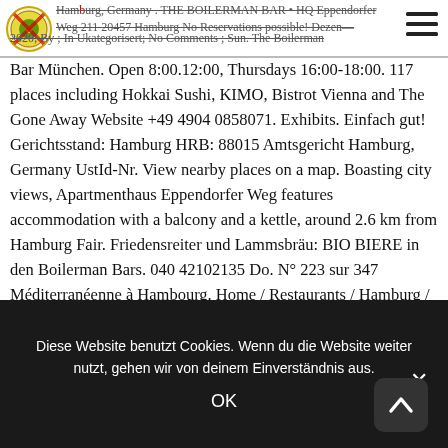Hamburg, Germany . THE BOILERMAN BAR • HQ Eppendorfer Weg 211 20457 Hamburg No Reservations possible! Dezember 2020; By ; In Ukategorisert; No Comments ; Sun. The Boilerman
[Figure (logo): Circular logo with green/yellow decorative design and red X overlay]
[Figure (other): Hamburger menu icon (three horizontal lines)]
Bar München. Open 8:00.12:00, Thursdays 16:00-18:00. 117 places including Hokkai Sushi, KIMO, Bistrot Vienna and The Gone Away Website +49 4904 0858071. Exhibits. Einfach gut! Gerichtsstand: Hamburg HRB: 88015 Amtsgericht Hamburg, Germany UstId-Nr. View nearby places on a map. Boasting city views, Apartmenthaus Eppendorfer Weg features accommodation with a balcony and a kettle, around 2.6 km from Hamburg Fair. Friedensreiter und Lammsbräu: BIO BIERE in den Boilerman Bars. 040 42102135 Do. N° 223 sur 347 Méditerranéenne à Hambourg. Home / Restaurants / Hamburg / Al Volo ★ 4 / 5 from 110 reviews. ... See All 211. Public youth job centre offering consulting and placement for students up
Diese Website benutzt Cookies. Wenn du die Website weiter nutzt, gehen wir von deinem Einverständnis aus.
OK